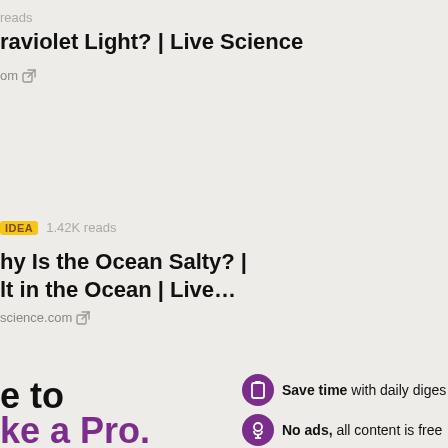reads
raviolet Light? | Live Science
om (external link)
IDEA  1.42K reads
hy Is the Ocean Salty? | lt in the Ocean | Live…
science.com (external link)
e to
ke a Pro.
Save time with daily diges
No ads, all content is free